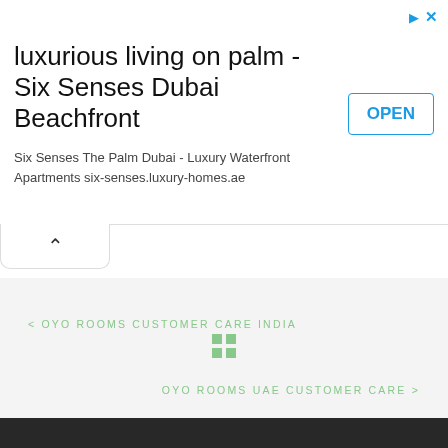[Figure (screenshot): Advertisement banner for Six Senses Dubai Beachfront luxury apartments]
luxurious living on palm - Six Senses Dubai Beachfront
Six Senses The Palm Dubai - Luxury Waterfront Apartments six-senses.luxury-homes.ae
OPEN
< OYO ROOMS CUSTOMER CARE INDIA
[Figure (other): Grid/home icon made of four green squares]
OYO ROOMS UAE CUSTOMER CARE >